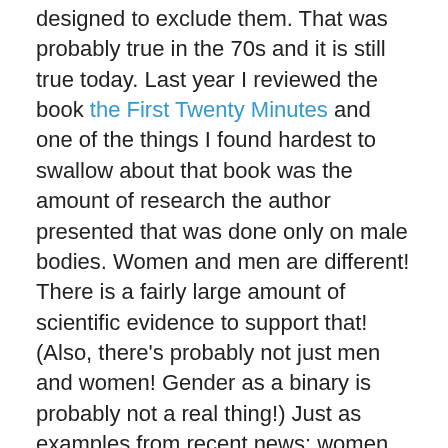designed to exclude them. That was probably true in the 70s and it is still true today. Last year I reviewed the book the First Twenty Minutes and one of the things I found hardest to swallow about that book was the amount of research the author presented that was done only on male bodies. Women and men are different! There is a fairly large amount of scientific evidence to support that! (Also, there's probably not just men and women! Gender as a binary is probably not a real thing!) Just as examples from recent news: women have different heart attack symptoms than men (and new research shows women aren't aware of this) and women with ADHD present differently than men. They also conclude that we have become mystified by science and don't know how to argue for what we need in the face of a scientific (or scientific sounding) argument. (Recent blow ups of twitter about whether or not the Earth